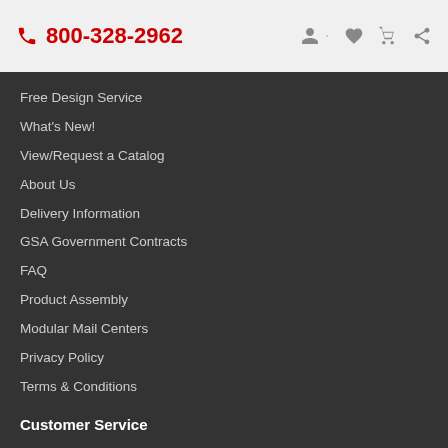800-328-2962
Free Design Service
What's New!
View/Request a Catalog
About Us
Delivery Information
GSA Government Contracts
FAQ
Product Assembly
Modular Mail Centers
Privacy Policy
Terms & Conditions
Customer Service
Contact Us
Returns
Dealer Request
Site Map
My Account
My Account
Order History